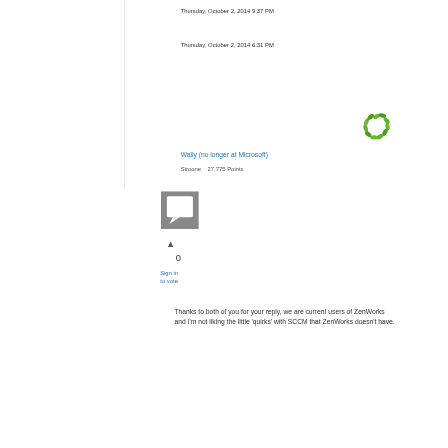Thursday, October 2, 2014 9:37 PM
Thursday, October 2, 2014 6:31 PM
[Figure (illustration): Green leaf/recycling style avatar icon for user Wally]
Wally (no longer at Microsoft)
Siroone   27,775 Points
[Figure (illustration): Gray square comment/reply icon with white speech bubble]
▲
0
Sign in to vote
Thanks to both of you for your reply, we are current users of ZenWorks and I'm not liking the little 'quirks' with SCCM that ZenWorks doesn't have.